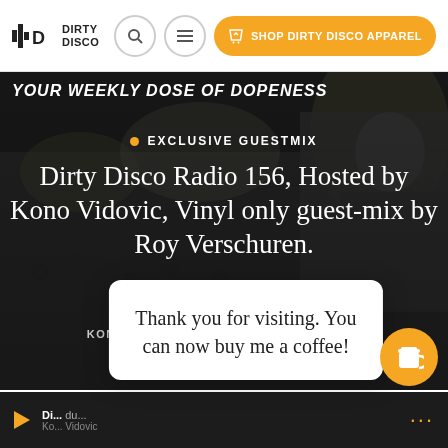DIRTY DISCO — SHOP DIRTY DISCO APPAREL
YOUR WEEKLY DOSE OF DOPENESS
• EXCLUSIVE GUESTMIX
Dirty Disco Radio 156, Hosted by Kono Vidovic, Vinyl only guest-mix by Roy Verschuren.
KONO VIDOVIC   MARCH 7, 2016   509
Thank you for visiting. You can now buy me a coffee!
Di... Kono Vidovic